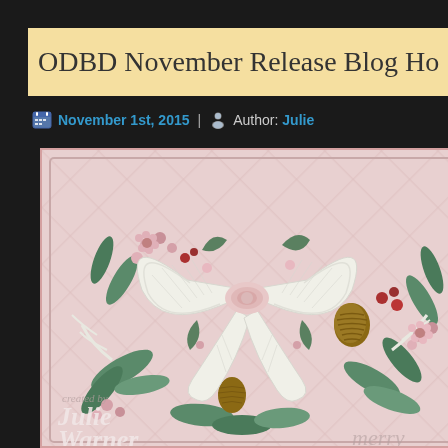ODBD November Release Blog Ho
November 1st, 2015 | Author: Julie
[Figure (photo): Close-up photo of a decorative handmade card featuring a large white ribbon bow in the center, surrounded by a Christmas wreath with green foliage, pink flowers, red berries, and pine cones on a pink embossed background with diamond pattern. Watermark text reads 'created by Julie Warner' in cursive at the bottom left.]